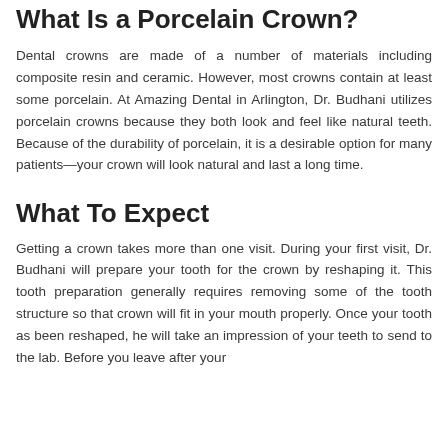What Is a Porcelain Crown?
Dental crowns are made of a number of materials including composite resin and ceramic. However, most crowns contain at least some porcelain. At Amazing Dental in Arlington, Dr. Budhani utilizes porcelain crowns because they both look and feel like natural teeth. Because of the durability of porcelain, it is a desirable option for many patients—your crown will look natural and last a long time.
What To Expect
Getting a crown takes more than one visit. During your first visit, Dr. Budhani will prepare your tooth for the crown by reshaping it. This tooth preparation generally requires removing some of the tooth structure so that crown will fit in your mouth properly. Once your tooth as been reshaped, he will take an impression of your teeth to send to the lab. Before you leave after your